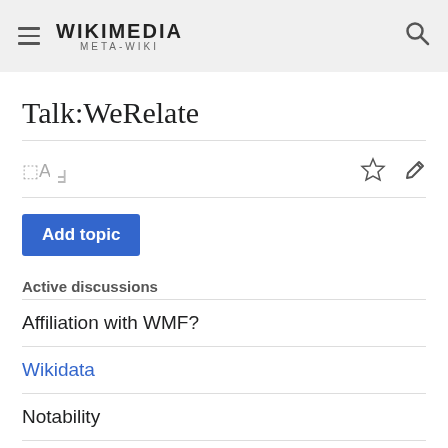WIKIMEDIA META-WIKI
Talk:WeRelate
Active discussions
Affiliation with WMF?
Wikidata
Notability
Living people